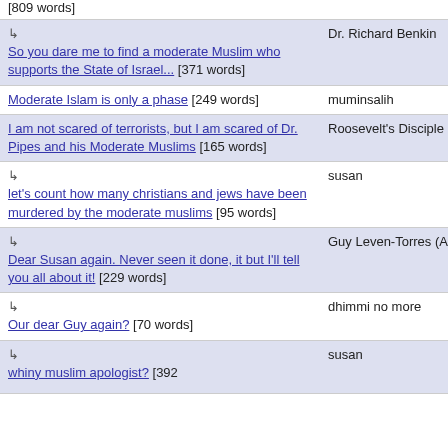[809 words]
↳ So you dare me to find a moderate Muslim who supports the State of Israel... [371 words] | Dr. Richard Benkin | Dec 12, 2008 06:54
Moderate Islam is only a phase [249 words] | muminsalih | May 8, 2007 14:28
I am not scared of terrorists, but I am scared of Dr. Pipes and his Moderate Muslims [165 words] | Roosevelt's Disciple | May 8, 2007 14:26
↳ let's count how many christians and jews have been murdered by the moderate muslims [95 words] | susan | May 9, 2007 15:42
↳ Dear Susan again. Never seen it done, it but I'll tell you all about it! [229 words] | Guy Leven-Torres (Agricola) | May 14, 2007 18:43
↳ Our dear Guy again? [70 words] | dhimmi no more | May 15, 2007 07:48
↳ whiny muslim apologist? [392 | susan | May 15, 2007